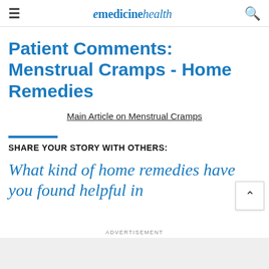emedicinehealth
Patient Comments: Menstrual Cramps - Home Remedies
Main Article on Menstrual Cramps
SHARE YOUR STORY WITH OTHERS:
What kind of home remedies have you found helpful in